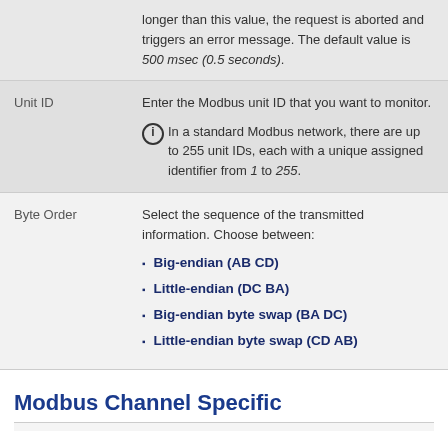longer than this value, the request is aborted and triggers an error message. The default value is 500 msec (0.5 seconds).
| Field | Description |
| --- | --- |
| Unit ID | Enter the Modbus unit ID that you want to monitor.
In a standard Modbus network, there are up to 255 unit IDs, each with a unique assigned identifier from 1 to 255. |
| Byte Order | Select the sequence of the transmitted information. Choose between:
• Big-endian (AB CD)
• Little-endian (DC BA)
• Big-endian byte swap (BA DC)
• Little-endian byte swap (CD AB) |
Modbus Channel Specific